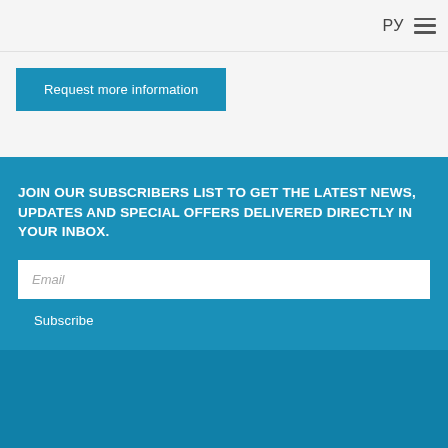РУ ☰
Request more information
JOIN OUR SUBSCRIBERS LIST TO GET THE LATEST NEWS, UPDATES AND SPECIAL OFFERS DELIVERED DIRECTLY IN YOUR INBOX.
Email
Subscribe